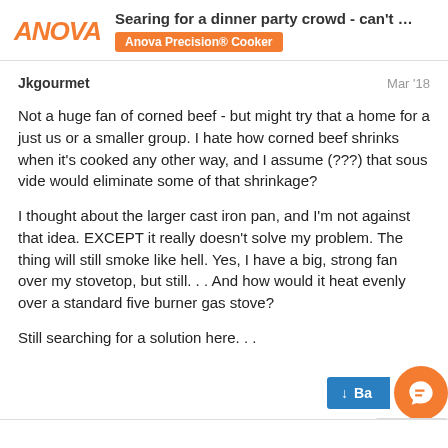ANOVA | Searing for a dinner party crowd - can't ... | Anova Precision® Cooker
Jkgourmet    Mar '18
Not a huge fan of corned beef - but might try that a home for a just us or a smaller group. I hate how corned beef shrinks when it's cooked any other way, and I assume (???) that sous vide would eliminate some of that shrinkage?

I thought about the larger cast iron pan, and I'm not against that idea. EXCEPT it really doesn't solve my problem. The thing will still smoke like hell. Yes, I have a big, strong fan over my stovetop, but still. . . And how would it heat evenly over a standard five burner gas stove?

Still searching for a solution here. . .